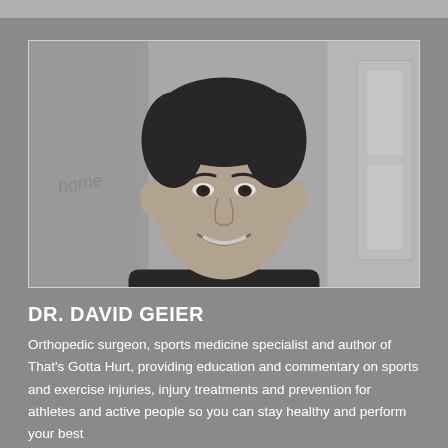[Figure (photo): Black and white photo of Dr. David Geier, a smiling man with dark hair wearing a dark crew-neck sweater over a collared shirt, photographed outdoors against a stone wall background.]
DR. DAVID GEIER
Orthopedic surgeon, sports medicine specialist and author of That's Gotta Hurt, providing education and commentary on sports and exercise injuries, injury treatments and prevention for athletes and active people so you can stay healthy and perform your best